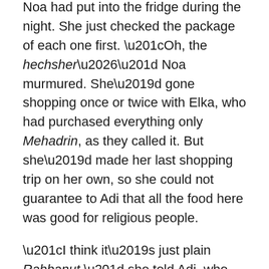Noa had put into the fridge during the night. She just checked the package of each one first. “Oh, the hechsher…” Noa murmured. She’d gone shopping once or twice with Elka, who had purchased everything only Mehadrin, as they called it. But she’d made her last shopping trip on her own, so she could not guarantee to Adi that all the food here was good for religious people.
“I think it’s just plain Rabbanut,” she told Adi, who had picked up the container of butter and planned to spread it onto her slice of bread. “So if you’re very religious, don’t eat it.”
“Do I look very religious to you?”
“You look mixed to me.”
“That’s what I am, mixed,” Adi said with a smile as she set the…